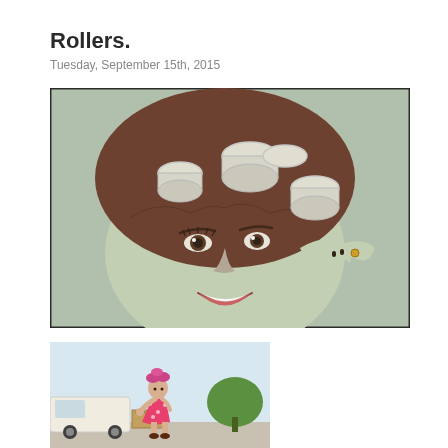Rollers.
Tuesday, September 15th, 2015
[Figure (photo): Vintage color photograph of a smiling woman with large white hair rollers in her dark hair, looking toward the camera while adjusting a roller. Her hands with dark-painted nails are visible near her hair.]
[Figure (photo): Vintage color photograph of a woman in a pink floral dress with pink hair rollers in her hair, standing outdoors near a vehicle, appearing to speak on a phone or hold something to her face.]